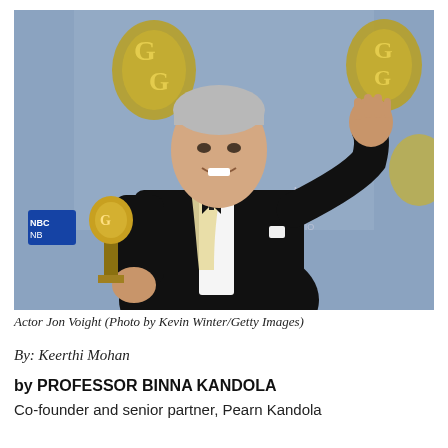[Figure (photo): Actor Jon Voight in a black tuxedo with bow tie and cream-colored scarf, holding a Golden Globe award trophy in his left hand and raising his right hand, smiling, posed against a blue backdrop with Golden Globe logos. NBC watermark visible on left.]
Actor Jon Voight (Photo by Kevin Winter/Getty Images)
By: Keerthi Mohan
by PROFESSOR BINNA KANDOLA
Co-founder and senior partner, Pearn Kandola